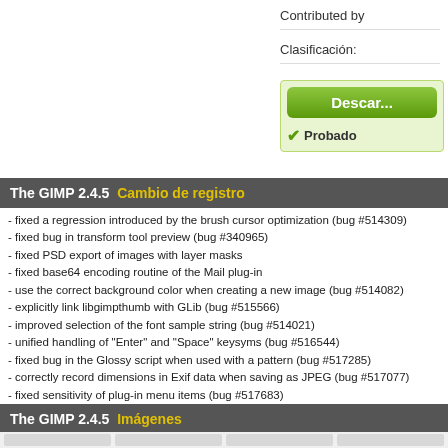Contributed by
Clasificación:
Descar...
Probado
The GIMP 2.4.5  Cambio de registro
- fixed a regression introduced by the brush cursor optimization (bug #514309)
- fixed bug in transform tool preview (bug #340965)
- fixed PSD export of images with layer masks
- fixed base64 encoding routine of the Mail plug-in
- use the correct background color when creating a new image (bug #514082)
- explicitly link libgimpthumb with GLib (bug #515566)
- improved selection of the font sample string (bug #514021)
- unified handling of "Enter" and "Space" keysyms (bug #516544)
- fixed bug in the Glossy script when used with a pattern (bug #517285)
- correctly record dimensions in Exif data when saving as JPEG (bug #517077)
- fixed sensitivity of plug-in menu items (bug #517683)
- fixed potential crashes in Wind, Warp, Small Tiles and Apply Canvas plug-ins (bug #516369)
- added default keyboard shortcut for "Paste As New Image" (Ctrl-Shift-V)
- added default keyboard shortcut for "Copy Visible" (Ctrl-Shift-C)
- fixed missing preview update in Curves tool (bug #518012)
- fixed a bug in the Frosty Logo script (bug #472316)
- fixed backward transformations using the PDB (bug #518910)
- translation fixes and updates (de, eu, eo, fr, he, hu, it, ja, ko)
The GIMP 2.4.5  Imágenes
[Figure (photo): Thumbnail images strip at the bottom of the page]